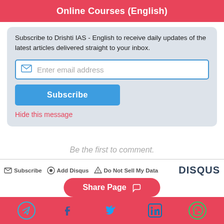Online Courses (English)
Subscribe to Drishti IAS - English to receive daily updates of the latest articles delivered straight to your inbox.
Enter email address
Subscribe
Hide this message
Be the first to comment.
Subscribe  Add Disqus  Do Not Sell My Data  DISQUS
Share Page
Social share icons: Telegram, Facebook, Twitter, LinkedIn, WhatsApp